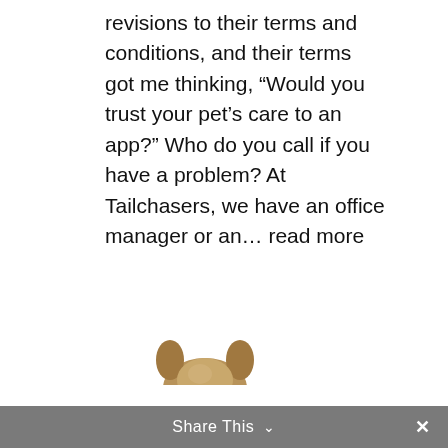revisions to their terms and conditions, and their terms got me thinking, “Would you trust your pet’s care to an app?” Who do you call if you have a problem? At Tailchasers, we have an office manager or an… read more
[Figure (photo): Partial top-down view of an animal (likely a cat or dog), showing only the top of the head with fur visible at the bottom of the image area.]
Share This ∨  ×